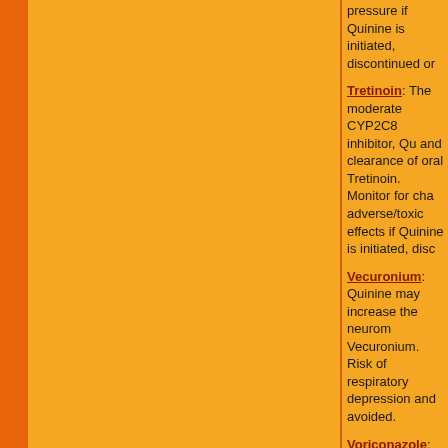pressure if Quinine is initiated, discontinued or
Tretinoin: The moderate CYP2C8 inhibitor, Qu... and clearance of oral Tretinoin. Monitor for changes in adverse/toxic effects if Quinine is initiated, disc...
Vecuronium: Quinine may increase the neuromuscular blocking effects of Vecuronium. Risk of respiratory depression and... avoided.
Voriconazole: Additive QTc prolongation may occur. avoided.
Vorinostat: Additive QTc prolongation may occ... avoided.
Warfarin: Quinine, a moderate CYP2C9 inhibit... concentration of S-warfarin by decreasing its m...
Ziprasidone: Additive QTc-prolongation may o... avoided.
Zuclopenthixol: Additive QTc-prolonging effects... arrhythmias. Concomitant therapy should be av...
Terms of Use